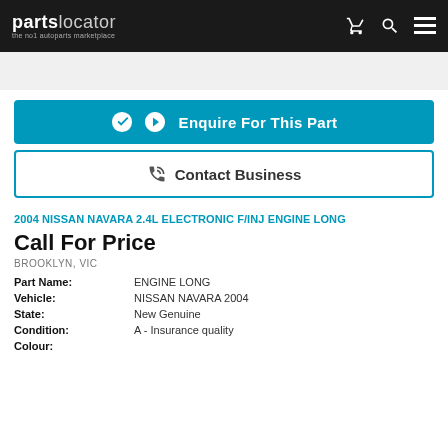partslocator — the no1 autoparts marketplace
Enquire For This Part
Contact Business
2004 NISSAN NAVARA 2.4L ELECTRONIC F/INJ ENGINE LONG
Call For Price
BROOKLYN, VIC
Part Name: ENGINE LONG
Vehicle: NISSAN NAVARA 2004
State: New Genuine
Condition: A - Insurance quality
Colour: